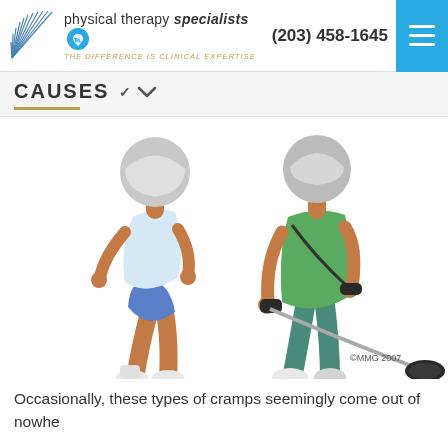physical therapy specialists | THE DIFFERENCE IS CLINICAL EXPERTISE | (203) 458-1645
CAUSES
[Figure (illustration): Two illustrated figures: a runner in white tank top and blue shorts jogging, and a person in green shirt and teal pants using a string trimmer lawn tool. Copyright MMG 2007.]
Occasionally, these types of cramps seemingly come out of nowhe